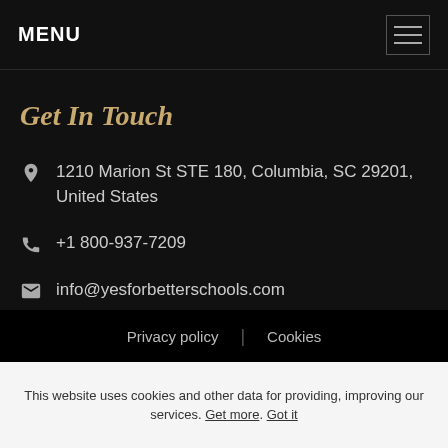MENU
Get In Touch
1210 Marion St STE 180, Columbia, SC 29201, United States
+1 800-937-7209
info@yesforbetterschools.com
Privacy policy | Cookies
This website uses cookies and other data for providing, improving our services. Get more. Got it